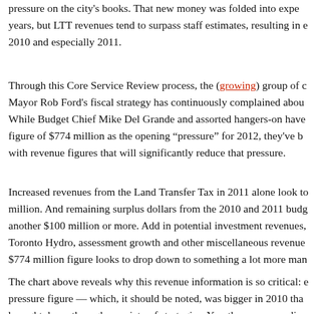pressure on the city's books. That new money was folded into expenditures over subsequent years, but LTT revenues tend to surpass staff estimates, resulting in eventual surpluses in 2010 and especially 2011.
Through this Core Service Review process, the (growing) group of councillors who oppose Mayor Rob Ford's fiscal strategy has continuously complained about overstated pressures. While Budget Chief Mike Del Grande and assorted hangers-on have been citing a figure of $774 million as the opening "pressure" for 2012, they've been slow with revenue figures that will significantly reduce that pressure.
Increased revenues from the Land Transfer Tax in 2011 alone look to be over $60 million. And remaining surplus dollars from the 2010 and 2011 budgets could add another $100 million or more. Add in potential investment revenues, dividends from Toronto Hydro, assessment growth and other miscellaneous revenues, and the $774 million figure looks to drop down to something a lot more manageable.
The chart above reveals why this revenue information is so critical: even though the pressure figure — which, it should be noted, was bigger in 2010 than it was in 2011 — is brought down through a variety of strategies. Yes, there are spending...